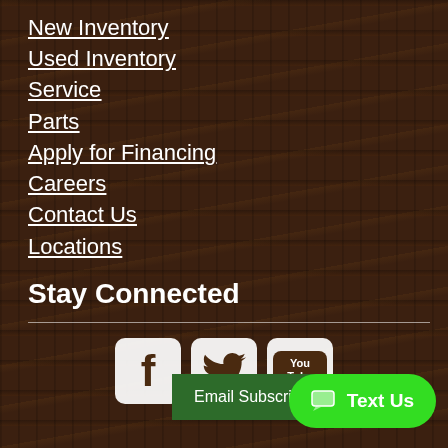New Inventory
Used Inventory
Service
Parts
Apply for Financing
Careers
Contact Us
Locations
Stay Connected
[Figure (logo): Social media icons: Facebook, Twitter, YouTube]
[Figure (other): Email Subscribe button (dark green rectangle)]
[Figure (other): Text Us button (bright green pill shape with chat icon)]